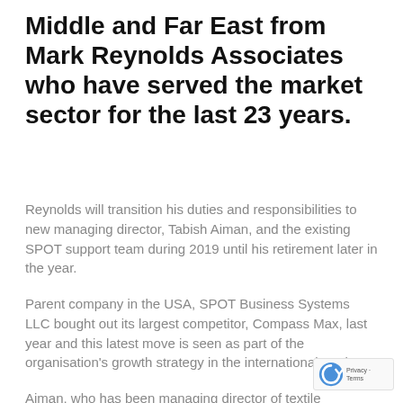Middle and Far East from Mark Reynolds Associates who have served the market sector for the last 23 years.
Reynolds will transition his duties and responsibilities to new managing director, Tabish Aiman, and the existing SPOT support team during 2019 until his retirement later in the year.
Parent company in the USA, SPOT Business Systems LLC bought out its largest competitor, Compass Max, last year and this latest move is seen as part of the organisation's growth strategy in the international market.
Aiman, who has been managing director of textile barcoding and RFID specialists, TexID, for the last four years says, “The product ranges and service philosophy of TexID and SPOT make us the ideal